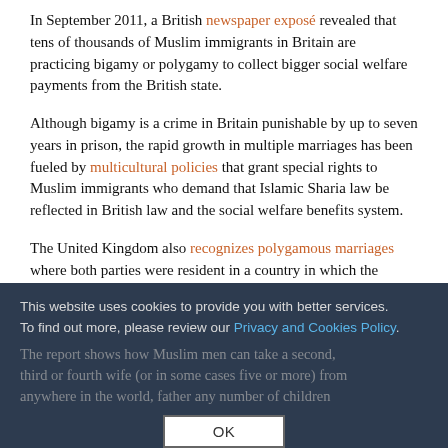In September 2011, a British newspaper exposé revealed that tens of thousands of Muslim immigrants in Britain are practicing bigamy or polygamy to collect bigger social welfare payments from the British state.
Although bigamy is a crime in Britain punishable by up to seven years in prison, the rapid growth in multiple marriages has been fueled by multicultural policies that grant special rights to Muslim immigrants who demand that Islamic Sharia law be reflected in British law and the social welfare benefits system.
The United Kingdom also recognizes polygamous marriages where both parties were resident in a country in which the practice is legal before they moved to...
The report shows how Muslim men can take a second, third or fourth wife (or in some cases five or more) from anywhere in the world, father any number of children
This website uses cookies to provide you with better services. To find out more, please review our Privacy and Cookies Policy.